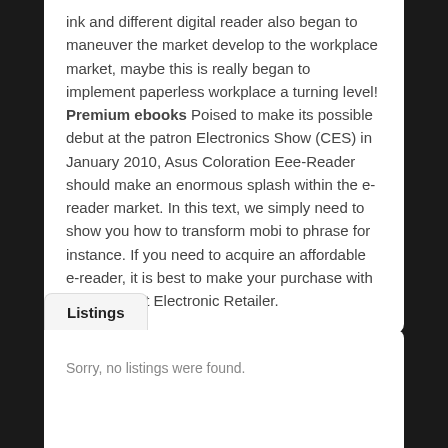ink and different digital reader also began to maneuver the market develop to the workplace market, maybe this is really began to implement paperless workplace a turning level! Premium ebooks Poised to make its possible debut at the patron Electronics Show (CES) in January 2010, Asus Coloration Eee-Reader should make an enormous splash within the e-reader market. In this text, we simply need to show you how to transform mobi to phrase for instance. If you need to acquire an affordable e-reader, it is best to make your purchase with the Discount Electronic Retailer.
Listings
Sorry, no listings were found.